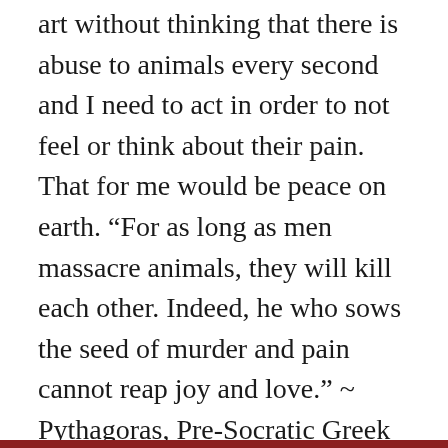art without thinking that there is abuse to animals every second and I need to act in order to not feel or think about their pain. That for me would be peace on earth. “For as long as men massacre animals, they will kill each other. Indeed, he who sows the seed of murder and pain cannot reap joy and love.” ~ Pythagoras, Pre-Socratic Greek